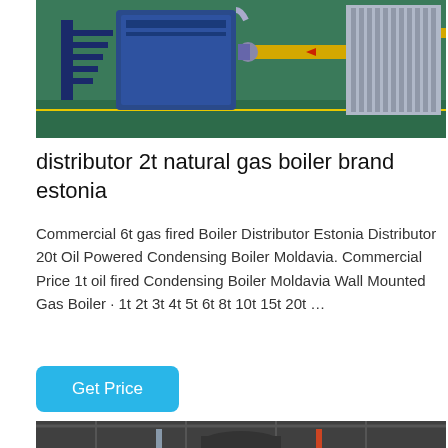[Figure (photo): Industrial boiler equipment in a factory — large blue boiler unit with yellow pipes, stairs/catwalk, and industrial fittings visible]
distributor 2t natural gas boiler brand estonia
Commercial 6t gas fired Boiler Distributor Estonia Distributor 20t Oil Powered Condensing Boiler Moldavia. Commercial Price 1t oil fired Condensing Boiler Moldavia Wall Mounted Gas Boiler · 1t 2t 3t 4t 5t 6t 8t 10t 15t 20t …
Get Price
[Figure (photo): Industrial boiler room interior with large boiler units, pipes and structural steel ceiling visible]